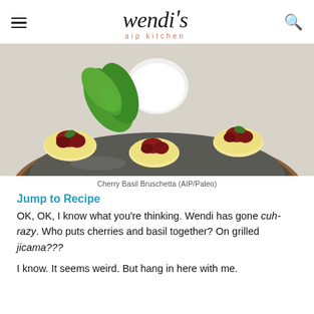wendi's aip kitchen
[Figure (photo): Close-up of a dark plate with small round grilled jicama crackers topped with cherries and basil mixture, with a white bowl in the background and fresh basil leaves]
Cherry Basil Bruschetta (AIP/Paleo)
Jump to Recipe
OK, OK, I know what you're thinking. Wendi has gone cuh-razy. Who puts cherries and basil together? On grilled jicama???
I know. It seems weird. But hang in here with me.